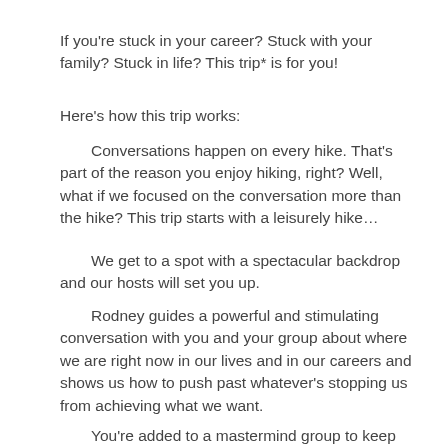If you're stuck in your career? Stuck with your family? Stuck in life? This trip* is for you!
Here's how this trip works:
Conversations happen on every hike. That's part of the reason you enjoy hiking, right? Well, what if we focused on the conversation more than the hike? This trip starts with a leisurely hike...
We get to a spot with a spectacular backdrop and our hosts will set you up.
Rodney guides a powerful and stimulating conversation with you and your group about where we are right now in our lives and in our careers and shows us how to push past whatever's stopping us from achieving what we want.
You're added to a mastermind group to keep that conversation